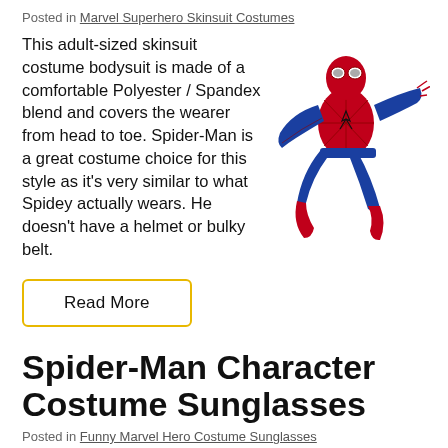Posted in Marvel Superhero Skinsuit Costumes
This adult-sized skinsuit costume bodysuit is made of a comfortable Polyester / Spandex blend and covers the wearer from head to toe. Spider-Man is a great costume choice for this style as it's very similar to what Spidey actually wears. He doesn't have a helmet or bulky belt.
[Figure (photo): Spider-Man costume photo showing a person in a red and blue Spider-Man skinsuit bodysuit in an action pose]
Read More
Spider-Man Character Costume Sunglasses
Posted in Funny Marvel Hero Costume Sunglasses